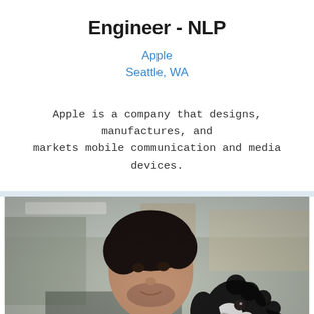Engineer - NLP
Apple
Seattle, WA
Apple is a company that designs, manufactures, and markets mobile communication and media devices.
[Figure (photo): A young man in a dark green sweater sits at a laptop in an office environment, looking warmly at a black and white dog (appears to be a spaniel mix) that is perched beside him looking up at his face.]